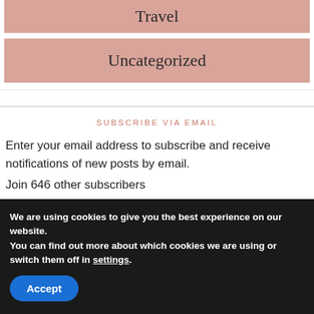Travel
Uncategorized
SUBSCRIBE VIA EMAIL
Enter your email address to subscribe and receive notifications of new posts by email. Join 646 other subscribers
We are using cookies to give you the best experience on our website.
You can find out more about which cookies we are using or switch them off in settings.
Accept